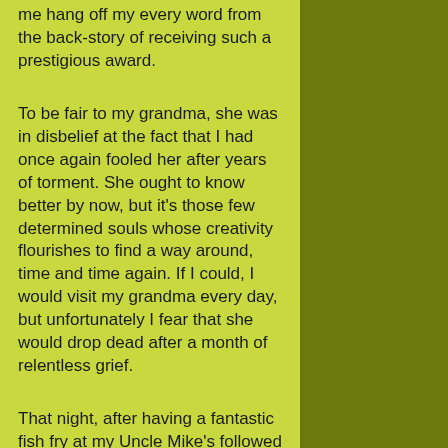me hang off my every word from the back-story of receiving such a prestigious award.
To be fair to my grandma, she was in disbelief at the fact that I had once again fooled her after years of torment.  She ought to know better by now, but it's those few determined souls whose creativity flourishes to find a way around, time and time again.  If I could, I would visit my grandma every day, but unfortunately I fear that she would drop dead after a month of relentless grief.
That night, after having a fantastic fish fry at my Uncle Mike's followed by some serenading songs on the guitar, and probably one too many old fashions, I took a moment to sit at my grandparents dock to reflect upon the